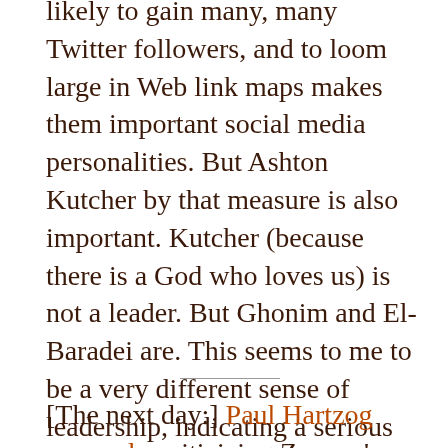likely to gain many, many Twitter followers, and to loom large in Web link maps makes them important social media personalities. But Ashton Kutcher by that measure is also important. Kutcher (because there is a God who loves us) is not a leader. But Ghonim and El-Baradei are. This seems to me to be a very different sense of leadership, indicating a serious change in the mechanics and semantics of leadership.
[The next day:] Paul Hartzog responds, criticizing Zeynep's assumptions for